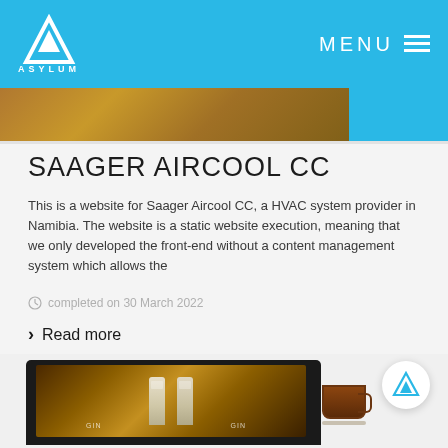ASYLUM — MENU
[Figure (photo): Partial hero image strip showing warm brown/amber tones, cropped at top of content area]
SAAGER AIRCOOL CC
This is a website for Saager Aircool CC, a HVAC system provider in Namibia. The website is a static website execution, meaning that we only developed the front-end without a content management system which allows the
completed on 30 March 2022
Read more
[Figure (photo): Laptop computer displaying a gin bottle website with warm amber background, with a tea cup visible to the right. Asylum logo shown in white circle overlay.]